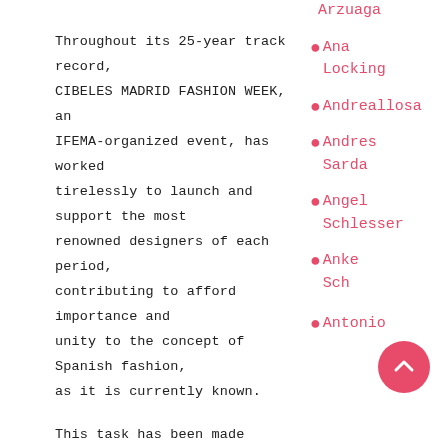Arzuaga
Throughout its 25-year track record, CIBELES MADRID FASHION WEEK, an IFEMA-organized event, has worked tirelessly to launch and support the most renowned designers of each period, contributing to afford importance and unity to the concept of Spanish fashion, as it is currently known.
Ana Locking
Andreallosa
Andres Sarda
Angel Schlesser
This task has been made possible thanks to the steadfast support given to Pasarela by the institutions of Madrid and especially to the driving-force of the Autonomous Government of Madrid. Its
Anke Sch
Antonio